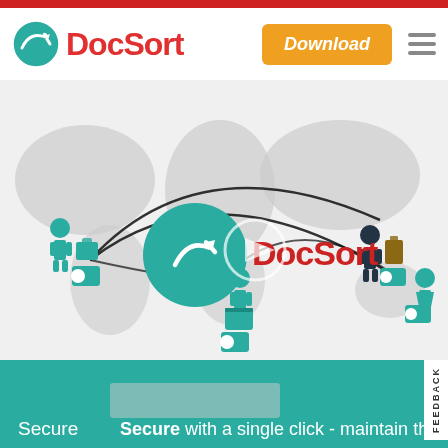[Figure (logo): DocSort logo with teal bird/arrow circle icon and red bold DocSort text]
Download
[Figure (illustration): World map background with teal human figures connected by curved black lines, DocSort logo in center with play button overlay, representing global document sharing network]
Secure with a single click - maintain the